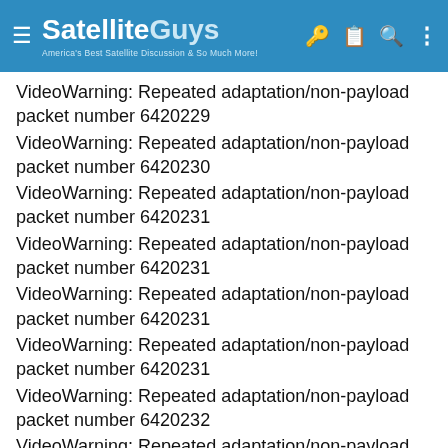SatelliteGuys — America's Best Satellite Discussion & So Much More!
VideoWarning: Repeated adaptation/non-payload packet number 6420229
VideoWarning: Repeated adaptation/non-payload packet number 6420230
VideoWarning: Repeated adaptation/non-payload packet number 6420231
VideoWarning: Repeated adaptation/non-payload packet number 6420231
VideoWarning: Repeated adaptation/non-payload packet number 6420231
VideoWarning: Repeated adaptation/non-payload packet number 6420231
VideoWarning: Repeated adaptation/non-payload packet number 6420232
VideoWarning: Repeated adaptation/non-payload packet number 6420232
VideoWarning: Repeated adaptation/non-payload (partial)